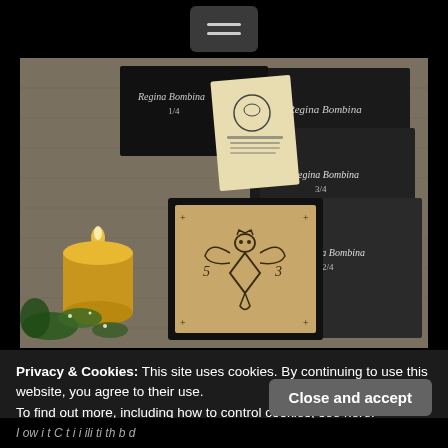[Figure (screenshot): Hamburger menu button (three horizontal lines) on dark background at top of page]
[Figure (photo): Photo of occult/esoteric product set: dark boxes labeled 'Regina Bombina' with edition numbers (1/4, 2/4, 3/4), a small booklet with a sigil stamp, a wooden plaque with an engraved insect/bee spirit figure, a lit yellow candle in a ceramic holder, and green leaves/herbs on a linen cloth background.]
Privacy & Cookies: This site uses cookies. By continuing to use this website, you agree to their use.
To find out more, including how to control cookies, see here:
Cookie Policy
Close and accept
I ow i t C t i i ili ti th b d